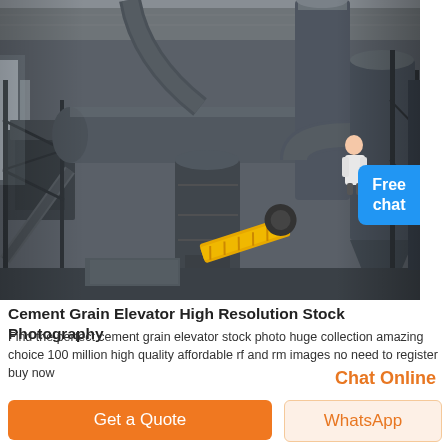[Figure (photo): Industrial cement grain elevator facility interior showing large dark metal pipes, ducts, machinery, conveyor systems, silos and structural steel framing inside a warehouse/factory building. A yellow conveyor belt is visible in the lower center.]
Cement Grain Elevator High Resolution Stock Photography
Find the perfect cement grain elevator stock photo huge collection amazing choice 100 million high quality affordable rf and rm images no need to register buy now
Chat Online
Get a Quote
WhatsApp